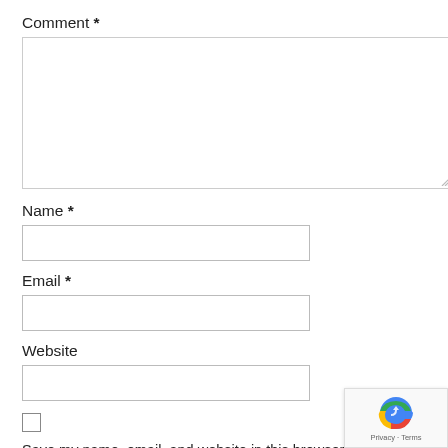Comment *
[Figure (other): Empty textarea input box for comment]
Name *
[Figure (other): Empty text input box for name]
Email *
[Figure (other): Empty text input box for email]
Website
[Figure (other): Empty text input box for website]
Save my name, email, and website in this browser for next time I comment.
[Figure (other): reCAPTCHA badge with Google reCAPTCHA logo and Privacy - Terms text]